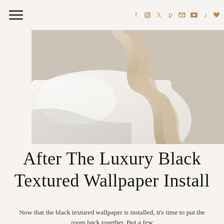≡  f  ig  t  p  ✉  ▶  ♪  ♥
[Figure (photo): Close-up photo of white textured bedding with crumpled natural linen fabric draped over it, in neutral beige and white tones]
After The Luxury Black Textured Wallpaper Install
Now that the black textured wallpaper is installed, it's time to put the room back together. But a few...